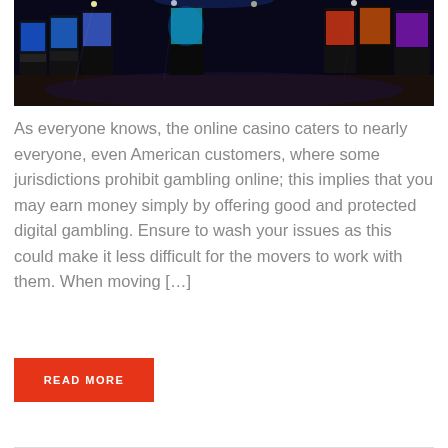[Figure (photo): Dark casino floor with rows of slot machines illuminated with colorful screens in blue, green, and red hues]
As everyone knows, the online casino caters to nearly everyone, even American customers, where some jurisdictions prohibit gambling online; this implies that you may earn money simply by offering good and protected digital gambling. Ensure to wash your issues as this could make it less difficult for the movers to work with them. When moving [...]